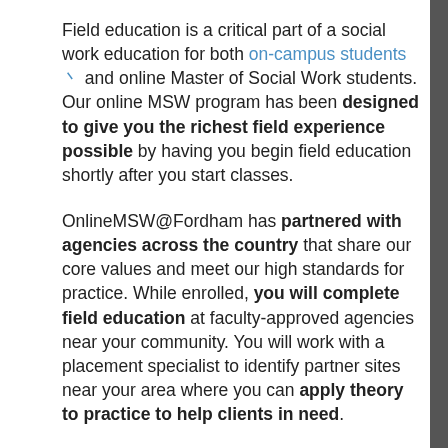Field education is a critical part of a social work education for both on-campus students [external link] and online Master of Social Work students. Our online MSW program has been designed to give you the richest field experience possible by having you begin field education shortly after you start classes.
OnlineMSW@Fordham has partnered with agencies across the country that share our core values and meet our high standards for practice. While enrolled, you will complete field education at faculty-approved agencies near your community. You will work with a placement specialist to identify partner sites near your area where you can apply theory to practice to help clients in need.
After completing field education and graduating